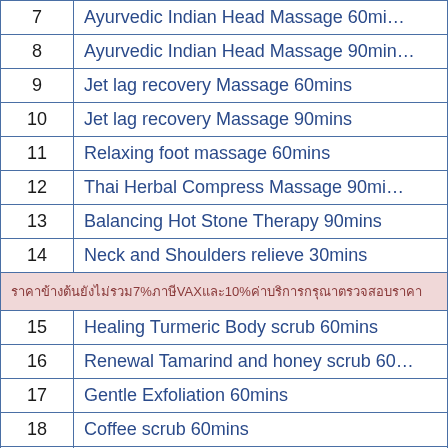| # | Treatment |
| --- | --- |
| 7 | Ayurvedic Indian Head Massage 60mi… |
| 8 | Ayurvedic Indian Head Massage 90mi… |
| 9 | Jet lag recovery Massage 60mins |
| 10 | Jet lag recovery Massage 90mins |
| 11 | Relaxing foot massage 60mins |
| 12 | Thai Herbal Compress Massage 90mi… |
| 13 | Balancing Hot Stone Therapy 90mins |
| 14 | Neck and Shoulders relieve 30mins |
| tax | …7%VAT…10%… |
| 15 | Healing Turmeric Body scrub 60mins |
| 16 | Renewal Tamarind and honey scrub 60… |
| 17 | Gentle Exfoliation 60mins |
| 18 | Coffee scrub 60mins |
| 19 | Anti Cellulite Sugar Body Scrub 60mi… |
| 20 | Honey & Yogurt Splash 60mins |
| 21 | Latvia Moor Mud Wrap 60mins |